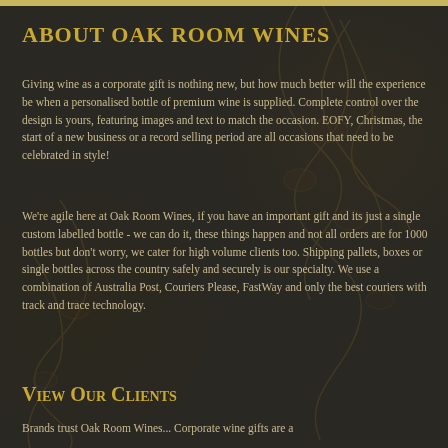ABOUT OAK ROOM WINES
Giving wine as a corporate gift is nothing new, but how much better will the experience be when a personalised bottle of premium wine is supplied. Complete control over the design is yours, featuring images and text to match the occasion. EOFY, Christmas, the start of a new business or a record selling period are all occasions that need to be celebrated in style!
We're agile here at Oak Room Wines, if you have an important gift and its just a single custom labelled bottle - we can do it, these things happen and not all orders are for 1000 bottles but don't worry, we cater for high volume clients too. Shipping pallets, boxes or single bottles across the country safely and securely is our specialty. We use a combination of Australia Post, Couriers Please, FastWay and only the best couriers with track and trace technology.
View Our Clients
Brands trust Oak Room Wines... Corporate wine gifts are a